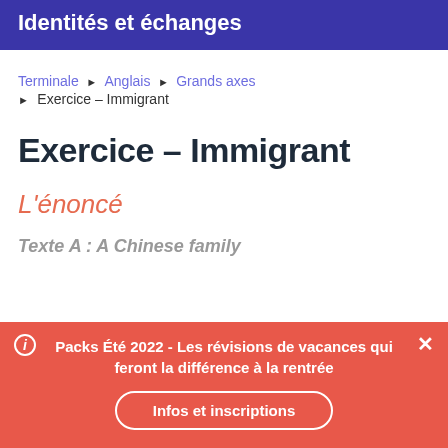Identités et échanges
Terminale › Anglais › Grands axes › Exercice – Immigrant
Exercice – Immigrant
L'énoncé
Texte A : A Chinese family
Packs Été 2022 - Les révisions de vacances qui feront la différence à la rentrée
Infos et inscriptions